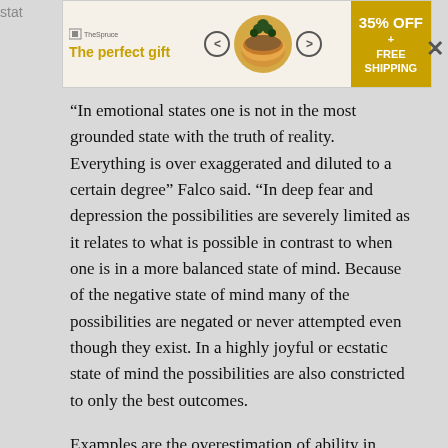[Figure (other): Advertisement banner: 'The perfect gift' with 35% OFF + FREE SHIPPING promotional banner showing a golden pot/food image with navigation arrows]
“In emotional states one is not in the most grounded state with the truth of reality. Everything is over exaggerated and diluted to a certain degree” Falco said. “In deep fear and depression the possibilities are severely limited as it relates to what is possible in contrast to when one is in a more balanced state of mind. Because of the negative state of mind many of the possibilities are negated or never attempted even though they exist. In a highly joyful or ecstatic state of mind the possibilities are also constricted to only the best outcomes.
Examples are the overestimation of ability in sports, the mindset of little risk when on an investing hot streak, or the feeling of general invincibility.” While allowing your emotions to play a large role in your decision-making in